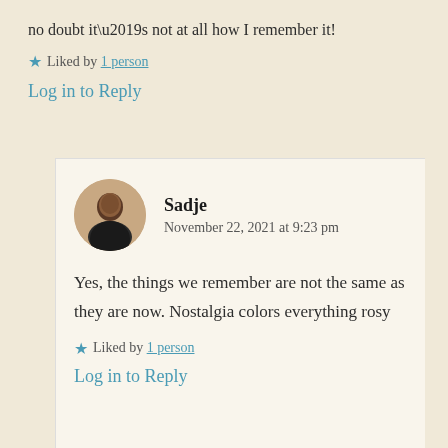no doubt it’s not at all how I remember it!
Liked by 1 person
Log in to Reply
Sadje
November 22, 2021 at 9:23 pm
Yes, the things we remember are not the same as they are now. Nostalgia colors everything rosy
Liked by 1 person
Log in to Reply